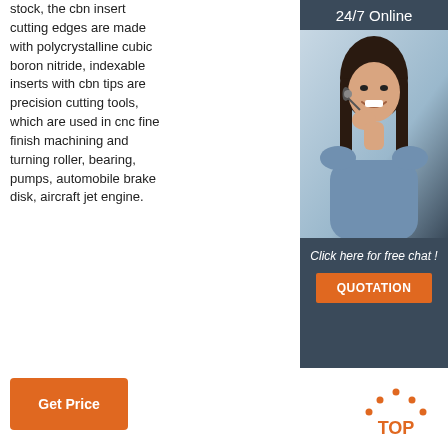stock, the cbn insert cutting edges are made with polycrystalline cubic boron nitride, indexable inserts with cbn tips are precision cutting tools, which are used in cnc fine finish machining and turning roller, bearing, pumps, automobile brake disk, aircraft jet engine.
[Figure (other): Sidebar ad with '24/7 Online' header, photo of woman with headset smiling, text 'Click here for free chat!' and orange QUOTATION button]
[Figure (other): Orange 'TOP' button with dotted triangle/arc above it]
Get Price